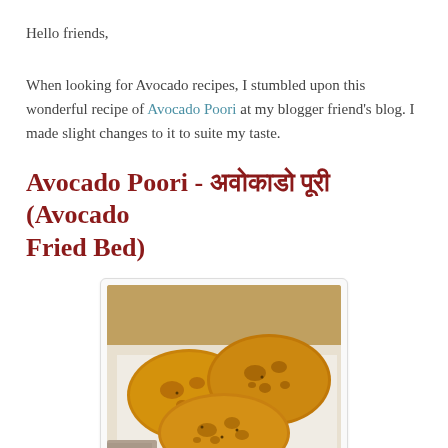Hello friends,
When looking for Avocado recipes, I stumbled upon this wonderful recipe of Avocado Poori at my blogger friend's blog. I made slight changes to it to suite my taste.
Avocado Poori - अवोकाडो पूरी (Avocado Fried Bed)
[Figure (photo): Three golden-brown fried pooris (Indian fried bread) placed on white paper, showing characteristic puffed and blistered surfaces with a deep golden color.]